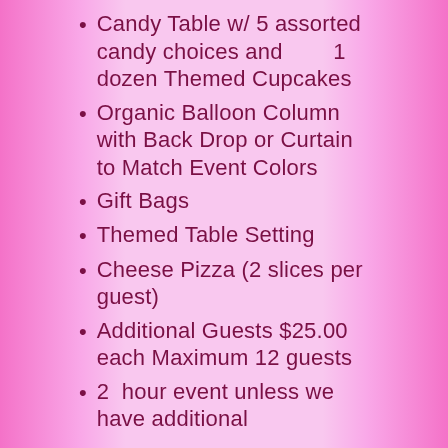Candy Table w/ 5 assorted candy choices and 1 dozen Themed Cupcakes
Organic Balloon Column with Back Drop or Curtain to Match Event Colors
Gift Bags
Themed Table Setting
Cheese Pizza (2 slices per guest)
Additional Guests $25.00 each Maximum 12 guests
2  hour event unless we have additional